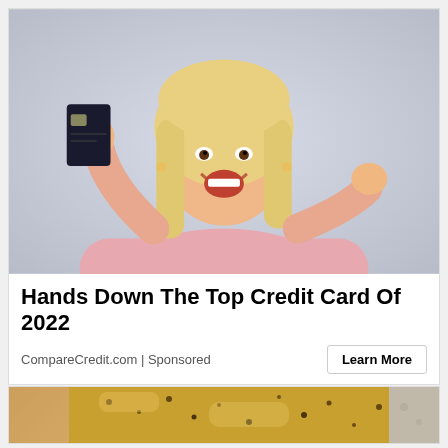[Figure (photo): Happy middle-aged blonde woman in a pink top holding up a dark credit card in one hand and making a fist with the other, smiling broadly against a light grey background]
Hands Down The Top Credit Card Of 2022
CompareCredit.com | Sponsored
Learn More
[Figure (photo): Close-up photo of what appears to be food with golden/yellow texture with dark specks, held by a hand]